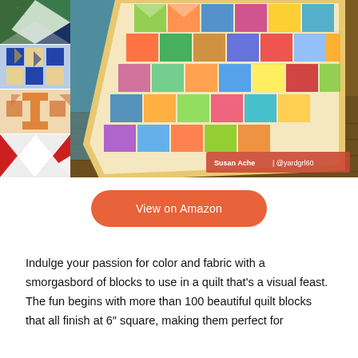[Figure (photo): Collage of colorful quilt blocks on the left side (4 thumbnail photos showing different quilt block patterns in blue/green, blue/gold, orange/peach, and red/white pinwheel designs) alongside a large main photo showing a colorful patchwork sampler quilt draped over a chair on a wood floor. Attribution badge reads 'Susan Ache | @yardgrl60'.]
View on Amazon
Indulge your passion for color and fabric with a smorgasbord of blocks to use in a quilt that's a visual feast. The fun begins with more than 100 beautiful quilt blocks that all finish at 6" square, making them perfect for